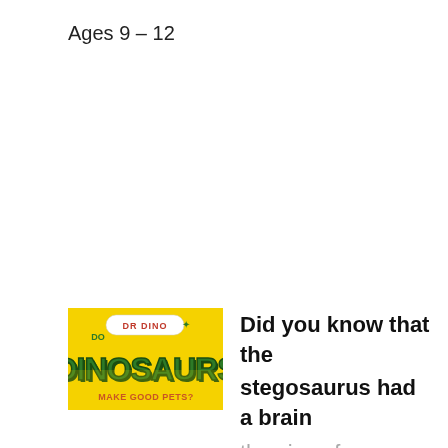Ages 9 – 12
[Figure (logo): Dr Dino Do Dinosaurs Make Good Pets? book cover logo — yellow background with green dinosaur-style lettering 'DINOSAURS' and 'DR DINO' badge at top]
Did you know that the stegosaurus had a brain the size of a walnut, or that